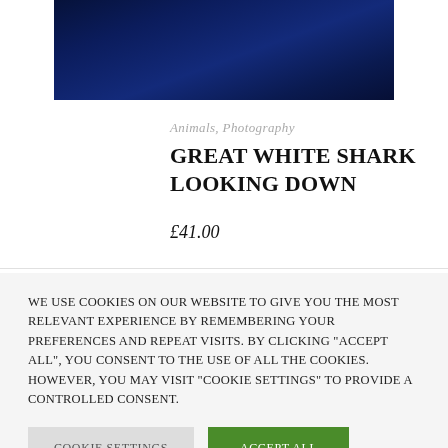[Figure (photo): Dark navy blue photograph, possibly an underwater or night sky image, partially cropped at the top of the page]
Animals, Photography
GREAT WHITE SHARK LOOKING DOWN
£41.00
We use cookies on our website to give you the most relevant experience by remembering your preferences and repeat visits. By clicking "Accept All", you consent to the use of ALL the cookies. However, you may visit "Cookie Settings" to provide a controlled consent.
Cookie Settings
Accept All